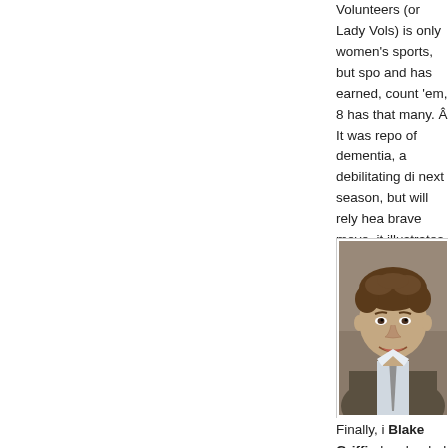Volunteers (or Lady Vols) is only women's sports, but spo and has earned, count 'em, 8 has that many. Â It was repo of dementia, a debilitating di next season, but will rely hea brave move, it illustrates incr Summitt's way.Â  Who know officially retires.
[Figure (photo): Headshot portrait of Blake Griffin, a young man with curly brown hair wearing a suit and tie, smiling at the camera]
Finally, i Blake Griffin has landed an Europe or Asia to play baske website Funny Or Die.Â  Gri comedy shorts with celebrity